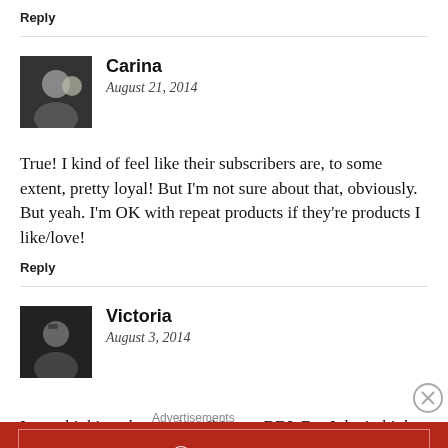Reply
Carina
August 21, 2014
True! I kind of feel like their subscribers are, to some extent, pretty loyal! But I'm not sure about that, obviously. But yeah. I'm OK with repeat products if they're products I like/love!
Reply
Victoria
August 3, 2014
I was thinking about subscribing to BDL But I don't think
Advertisements
[Figure (infographic): Longreads advertisement banner: red background, Longreads logo and tagline 'The best stories on the web – ours, and everyone else's.']